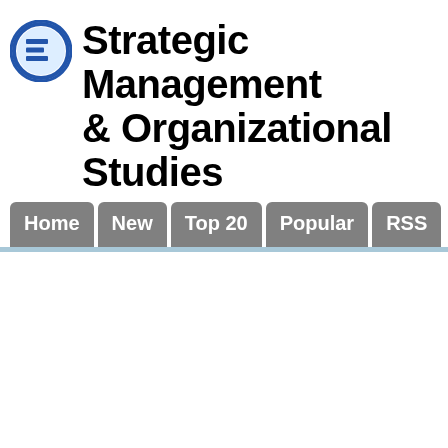[Figure (logo): Circular blue logo with letter E and horizontal lines, representing an encyclopedia or educational resource icon]
Strategic Management & Organizational Studies
[Figure (other): Navigation bar with buttons: Home, New, Top 20, Popular, RSS, on gray rounded-top buttons with a light blue horizontal divider line below]